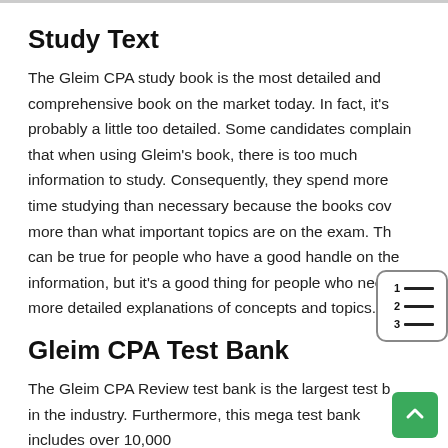Study Text
The Gleim CPA study book is the most detailed and comprehensive book on the market today. In fact, it's probably a little too detailed. Some candidates complain that when using Gleim's book, there is too much information to study. Consequently, they spend more time studying than necessary because the books cover more than what important topics are on the exam. This can be true for people who have a good handle on the information, but it's a good thing for people who need more detailed explanations of concepts and topics.
Gleim CPA Test Bank
The Gleim CPA Review test bank is the largest test bank in the industry. Furthermore, this mega test bank includes over 10,000 questions and practice multiple-choice